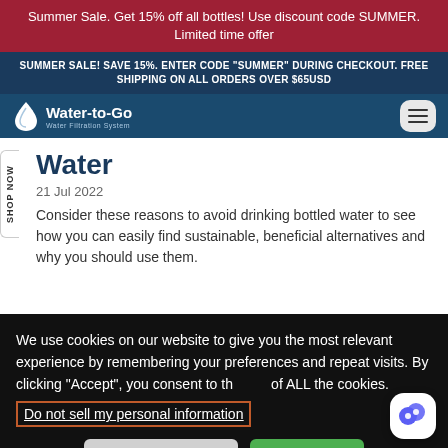Summer Sale. Get 15% off all bottles! Use discount code SUMMER. Limited time offer
SUMMER SALE! SAVE 15%. ENTER CODE "SUMMER" DURING CHECKOUT. FREE SHIPPING ON ALL ORDERS OVER $65USD
[Figure (logo): Water-to-Go Water Filtration System logo with water droplet icon on navy navigation bar]
Water
21 Jul 2022
Consider these reasons to avoid drinking bottled water to see how you can easily find sustainable, beneficial alternatives and why you should use them.
We use cookies on our website to give you the most relevant experience by remembering your preferences and repeat visits. By clicking “Accept”, you consent to the use of ALL the cookies.
Do not sell my personal information
Cookie Settings  Accept